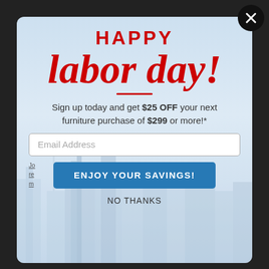[Figure (screenshot): Close button (X) in black circle, top right corner]
HAPPY labor day!
Sign up today and get $25 OFF your next furniture purchase of $299 or more!*
Email Address
Jo re m
ENJOY YOUR SAVINGS!
NO THANKS